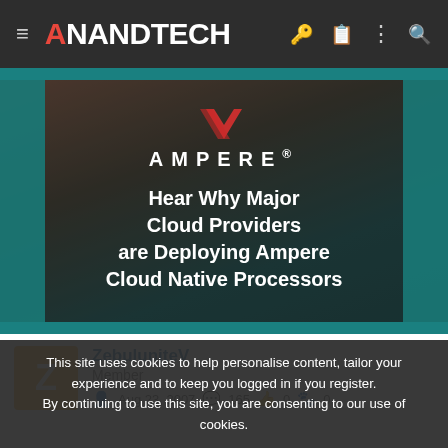AnandTech navigation bar
[Figure (photo): Ampere advertisement banner with dark red/teal background showing 'Hear Why Major Cloud Providers are Deploying Ampere Cloud Native Processors']
ZebuluniteV
Member
Aug 23, 2007  165  0  0
This site uses cookies to help personalise content, tailor your experience and to keep you logged in if you register. By continuing to use this site, you are consenting to our use of cookies.